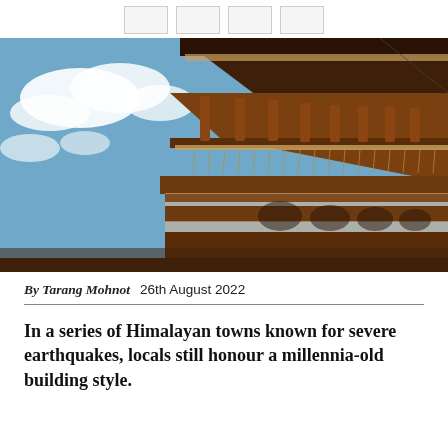[social share buttons]
[Figure (photo): Upward angle view of a traditional Himalayan wooden building with ornate carved balconies and railings, against a blue sky with white clouds.]
By Tarang Mohnot  26th August 2022
In a series of Himalayan towns known for severe earthquakes, locals still honour a millennia-old building style.